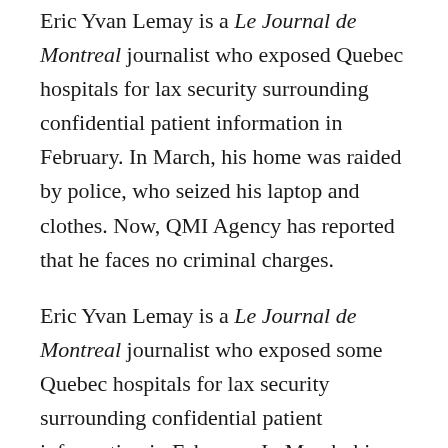Eric Yvan Lemay is a Le Journal de Montreal journalist who exposed Quebec hospitals for lax security surrounding confidential patient information in February. In March, his home was raided by police, who seized his laptop and clothes. Now, QMI Agency has reported that he faces no criminal charges.
Eric Yvan Lemay is a Le Journal de Montreal journalist who exposed some Quebec hospitals for lax security surrounding confidential patient information in February. In March, his home was raided by police, who seized his laptop and clothes. Now, QMI Agency has reported that he faces no criminal charges.
As J-Source reported last month, Lemay filed a report, published Feb. 9 that showed Montreal-area hospitals